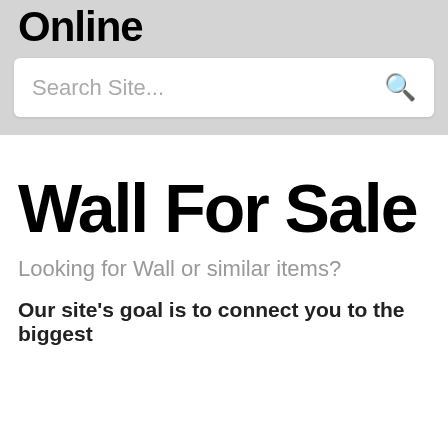Online
[Figure (screenshot): Search box with placeholder text 'Search Site...' and a search icon on the right]
Wall For Sale
Looking for Wall or similar items?
Our site's goal is to connect you to the biggest